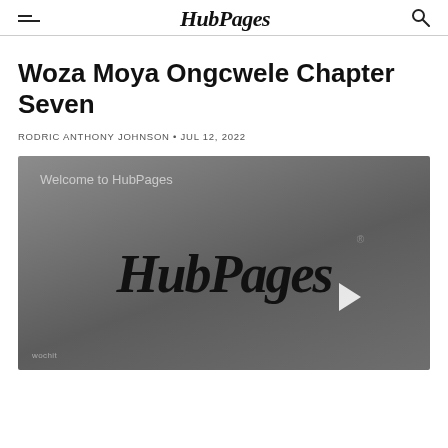HubPages
Woza Moya Ongcwele Chapter Seven
RODRIC ANTHONY JOHNSON • JUL 12, 2022
[Figure (screenshot): Video player showing HubPages welcome screen with HubPages logo and play button, watermark 'wochit' at bottom left]